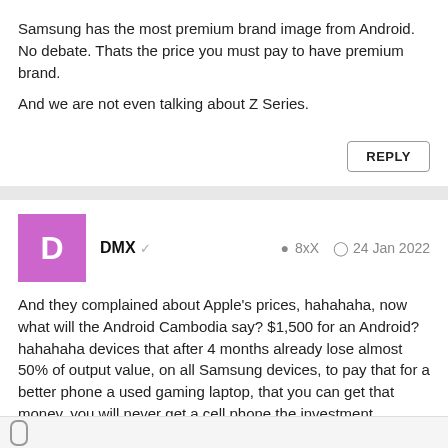Samsung has the most premium brand image from Android. No debate. Thats the price you must pay to have premium brand.

And we are not even talking about Z Series.
REPLY
DMX ✓   📍 8xX   🕐 24 Jan 2022
And they complained about Apple's prices, hahahaha, now what will the Android Cambodia say? $1,500 for an Android? hahahaha devices that after 4 months already lose almost 50% of output value, on all Samsung devices, to pay that for a better phone a used gaming laptop, that you can get that money, you will never get a cell phone the investment
REPLY